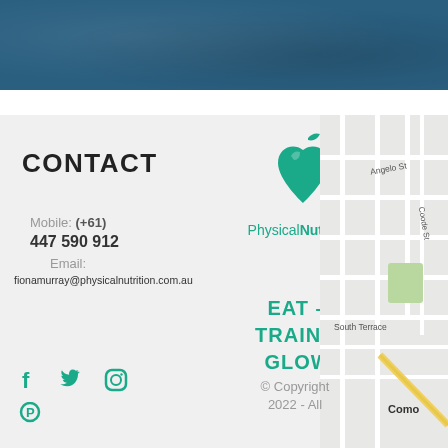[Figure (other): Blue textured header band background]
CONTACT
Mobile: (+61)
447 590 912
Email:
fionamurray@physicalnutrition.com.au
[Figure (logo): Physical Nutrition logo: teal apple/heart icon with text 'PhysicalNutrition']
EAT – TRAIN – GLOW
[Figure (map): Street map showing Angelo St, Coode St, South Terrace, Como area]
© Copyright 2022 - All
[Figure (other): Social media icons: Facebook, Twitter, Instagram, Pinterest in teal color]